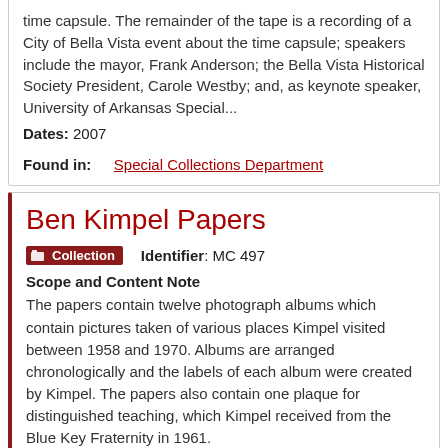time capsule. The remainder of the tape is a recording of a City of Bella Vista event about the time capsule; speakers include the mayor, Frank Anderson; the Bella Vista Historical Society President, Carole Westby; and, as keynote speaker, University of Arkansas Special...
Dates: 2007
Found in:   Special Collections Department
Ben Kimpel Papers
Collection   Identifier: MC 497
Scope and Content Note
The papers contain twelve photograph albums which contain pictures taken of various places Kimpel visited between 1958 and 1970. Albums are arranged chronologically and the labels of each album were created by Kimpel. The papers also contain one plaque for distinguished teaching, which Kimpel received from the Blue Key Fraternity in 1961.